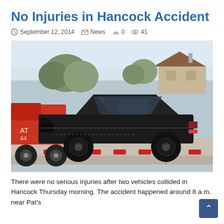No Injuries in Hancock Accident
September 12, 2014  News  0  41
[Figure (photo): A damaged black sedan loaded on a flatbed tow truck with red reflectors. A red tow truck is visible on the left. Trees and a house are visible in the background.]
There were no serious injuries after two vehicles collided in Hancock Thursday morning. The accident happened around 8 a.m. near Pat's